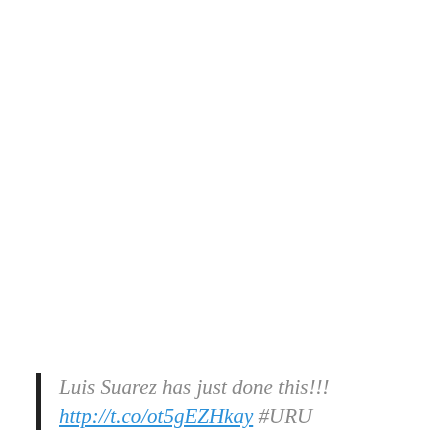Luis Suarez has just done this!!! http://t.co/ot5gEZHkay #URU